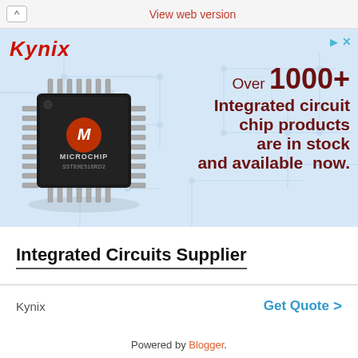View web version
[Figure (photo): Kynix advertisement banner with blue circuit board background, Kynix logo in red italic, a Microchip brand IC chip (SST89E516RD2) on the left, and bold dark red text on the right reading: Over 1000+ Integrated circuit chip products are in stock and available now.]
Integrated Circuits Supplier
Kynix
Get Quote >
Powered by Blogger.